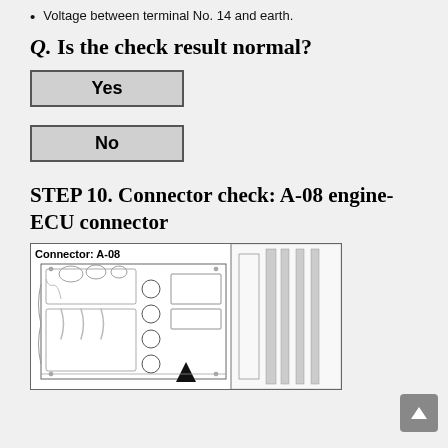Voltage between terminal No. 14 and earth.
Q. Is the check result normal?
Yes
No
STEP 10. Connector check: A-08 engine-ECU connector
[Figure (engineering-diagram): Technical line drawing of an engine bay showing connector A-08 location. The diagram shows engine components including circular elements, rectangular panels, hoses/cables, and an arrow/triangle pointer indicating the connector location. Label reads 'Connector: A-08'.]